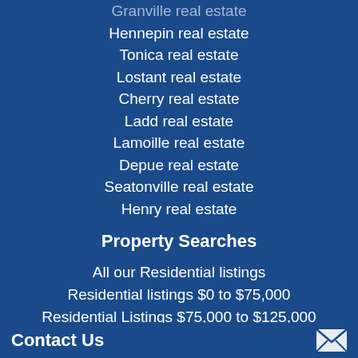Granville real estate
Hennepin real estate
Tonica real estate
Lostant real estate
Cherry real estate
Ladd real estate
Lamoille real estate
Depue real estate
Seatonville real estate
Henry real estate
Property Searches
All our Residential listings
Residential listings $0 to $75,000
Residential Listings $75,000 to $125,000
Residential listings $125,000 to $200,000
Contact Us